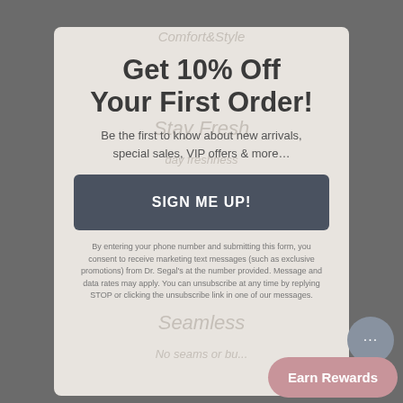Get 10% Off Your First Order!
Be the first to know about new arrivals, special sales, VIP offers & more...
SIGN ME UP!
By entering your phone number and submitting this form, you consent to receive marketing text messages (such as exclusive promotions) from Dr. Segal's at the number provided. Message and data rates may apply. You can unsubscribe at any time by replying STOP or clicking the unsubscribe link in one of our messages.
Earn Rewards